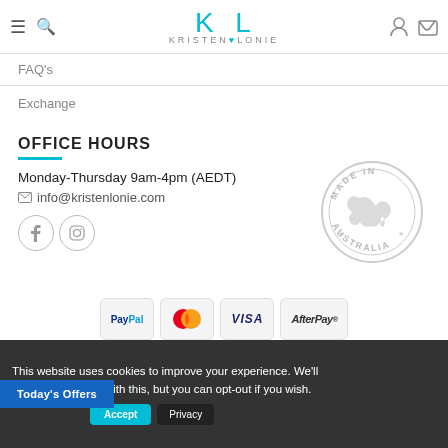KL KRISTEN LONIE
FAQ's
Exchange
OFFICE HOURS
Monday-Thursday 9am-4pm (AEDT)
info@kristenlonie.com
[Figure (logo): Made in Australia circular stamp with map of Australia]
[Figure (logo): Payment method logos: PayPal, MasterCard, VISA, AfterPay]
This website uses cookies to improve your experience. We'll assume you're ok with this, but you can opt-out if you wish.